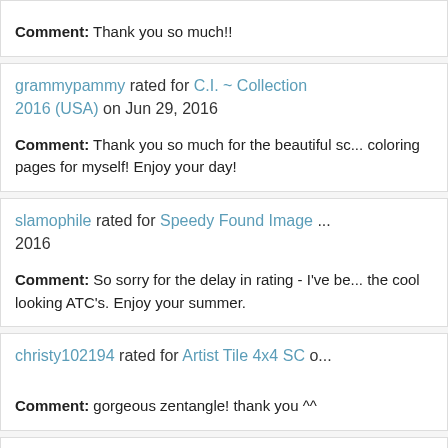Comment: Thank you so much!!
grammypammy rated for C.I. ~ Collection 2016 (USA) on Jun 29, 2016
Comment: Thank you so much for the beautiful sc... coloring pages for myself! Enjoy your day!
slamophile rated for Speedy Found Image ... 2016
Comment: So sorry for the delay in rating - I've be... the cool looking ATC's. Enjoy your summer.
christy102194 rated for Artist Tile 4x4 SC ...
Comment: gorgeous zentangle! thank you ^^
JocysMom rated for CPG June '15 Sun Th... on Jun 27, 2016